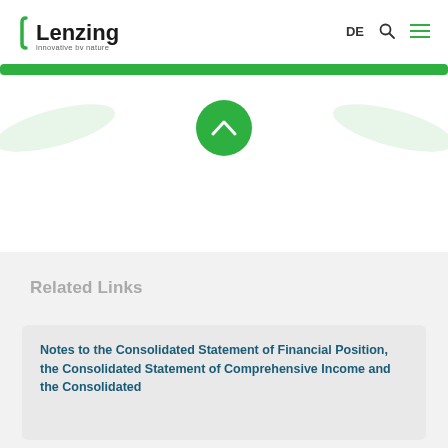Lenzing — innovative by nature | DE
[Figure (logo): Lenzing logo with green bracket mark and tagline 'innovative by nature']
[Figure (illustration): Green horizontal bar with decorative leaf/wave shapes on left and right, and a green circular scroll-up button with chevron arrow in the center]
Related Links
Notes to the Consolidated Statement of Financial Position, the Consolidated Statement of Comprehensive Income and the Consolidated